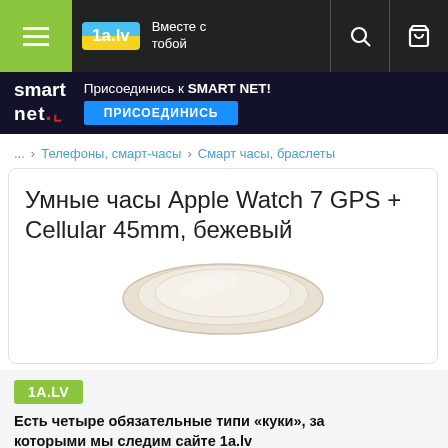1a.lv — Вместе с тобой
[Figure (screenshot): Smart NET banner — Присоединись к SMART NET! / ПРИСОЕДИНИСЬ button]
... > Телефоны, смарт-часы > Смарт часы, браслеты
Умные часы Apple Watch 7 GPS + Cellular 45mm, бежевый
[Figure (photo): Apple Watch 7 beige, top-down view of the watch face, cream/beige color]
[Figure (logo): 1A.LV logo badge in green]
Есть четыре обязательные типи «куки», за которыми мы следим сайте 1a.lv
С просмотром сайта Ты подтверждаешь обязательное использование файлов «куки». Ты также можешь принять использование других файлов «куки».